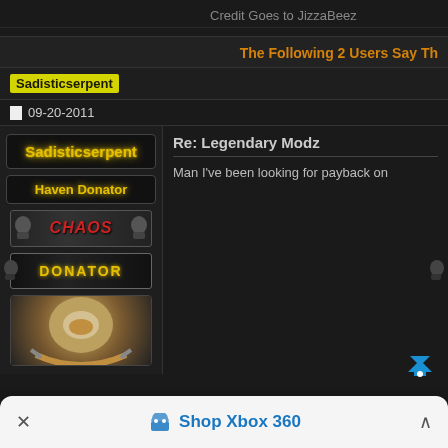Credit Goes to JizzaBeez
The Following 2 Users Say Th
Sadisticserpent
09-20-2011
Sadisticserpent
Haven Donator
CHAOS
DONATOR
Re: Legendary Modz
Man I've been looking for payback on
Shop Xbox 360